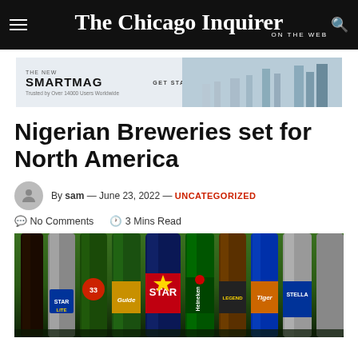The Chicago Inquirer ON THE WEB
[Figure (infographic): SMARTMAG advertisement banner with city skyline background. Text: THE NEW SMARTMAG, Trusted by Over 14000 Users Worldwide, GET STARTED]
Nigerian Breweries set for North America
By sam — June 23, 2022 — UNCATEGORIZED
No Comments   3 Mins Read
[Figure (photo): Row of beer bottles including Star Lite, Star, Gulden, Star, Heineken, Legend, Tiger, Stella]